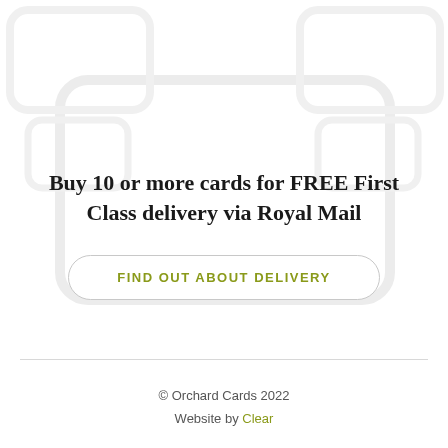[Figure (illustration): Light grey outline illustrations of greeting card shapes (rounded rectangles) arranged as a background pattern behind the main content area.]
Buy 10 or more cards for FREE First Class delivery via Royal Mail
FIND OUT ABOUT DELIVERY
© Orchard Cards 2022
Website by Clear